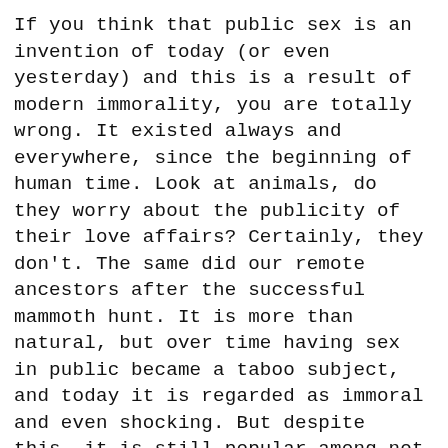If you think that public sex is an invention of today (or even yesterday) and this is a result of modern immorality, you are totally wrong. It existed always and everywhere, since the beginning of human time. Look at animals, do they worry about the publicity of their love affairs? Certainly, they don't. The same did our remote ancestors after the successful mammoth hunt. It is more than natural, but over time having sex in public became a taboo subject, and today it is regarded as immoral and even shocking. But despite this, it is still popular among not only fetishists but ordinary people who want to spice up their lives by making their sex public.